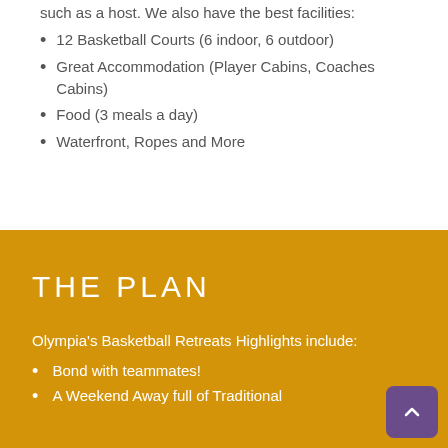such as a host. We also have the best facilities:
12 Basketball Courts (6 indoor, 6 outdoor)
Great Accommodation (Player Cabins, Coaches Cabins)
Food (3 meals a day)
Waterfront, Ropes and More
THE PLAN
Olympia's Basketball Retreats Highlights include:
Bond with teammates!
A Weekend Away full of Traditional